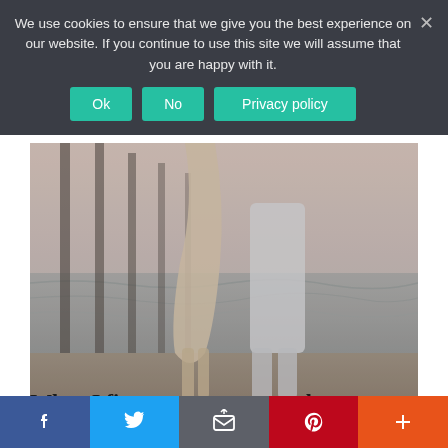We use cookies to ensure that we give you the best experience on our website. If you continue to use this site we will assume that you are happy with it.
Ok | No | Privacy policy
[Figure (photo): Two people standing close together on a beach near a pier, shot from waist down, wearing flowing light-colored clothing]
When I first saw you, you took my breath away
Facebook | Twitter | Email | Pinterest | Plus